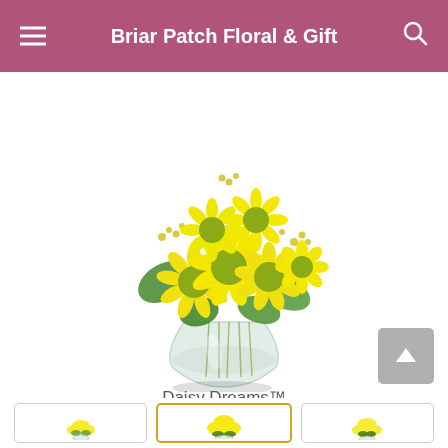Briar Patch Floral & Gift
[Figure (photo): Bouquet of yellow daisies arranged in a round clear glass vase with green foliage]
Daisy Dreams™
Pick your perfect gift:
[Figure (photo): Three product thumbnail options at the bottom of the screen, middle one selected with yellow/gold border]